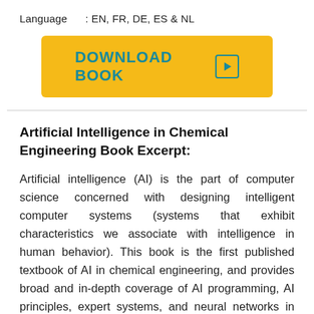Language      : EN, FR, DE, ES & NL
[Figure (other): Yellow download button with text 'DOWNLOAD BOOK' and a play icon, styled with teal/cyan text on gold/yellow background]
Artificial Intelligence in Chemical Engineering Book Excerpt:
Artificial intelligence (AI) is the part of computer science concerned with designing intelligent computer systems (systems that exhibit characteristics we associate with intelligence in human behavior). This book is the first published textbook of AI in chemical engineering, and provides broad and in-depth coverage of AI programming, AI principles, expert systems, and neural networks in chemical engineering. This book introduces the computational means and methodologies that